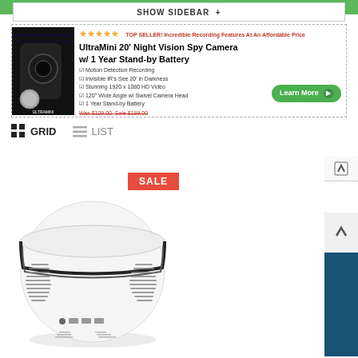SHOW SIDEBAR +
[Figure (screenshot): Advertisement banner for UltraMini 20' Night Vision Spy Camera w/ 1 Year Stand-by Battery. Shows product image, star rating, features list, and Learn More button.]
GRID  LIST
[Figure (photo): Product photo of a white smoke detector housing used as a spy camera, shown from above at slight angle, with ventilation slits and USB ports visible.]